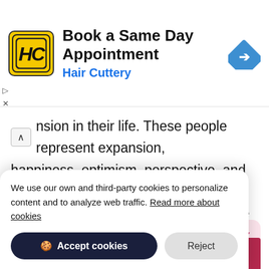[Figure (screenshot): Hair Cuttery advertisement banner with yellow HC logo, text 'Book a Same Day Appointment / Hair Cuttery', and blue diamond navigation arrow icon]
nsion in their life. These people represent expansion, happiness, optimism, perspective, and good humor. They are very optimistic and find perspective in good humor.
[Figure (screenshot): Countdown to Your 10th Birthday section with pink background and birthday cake emoji icons]
We use our own and third-party cookies to personalize content and to analyze web traffic. Read more about cookies
Accept cookies   Reject